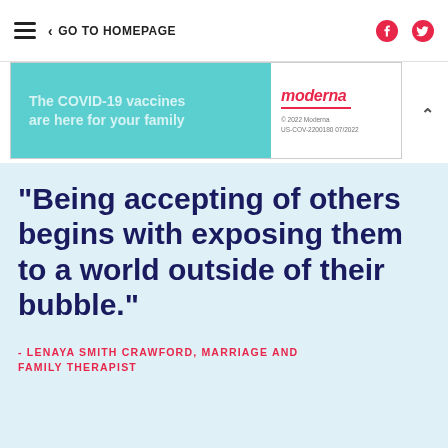GO TO HOMEPAGE
[Figure (screenshot): Advertisement banner: Moderna COVID-19 vaccine ad. Text reads 'The COVID-19 vaccines are here for your family' on teal background. Moderna logo with copyright '© 2022 Moderna US-COV-2200180 07/2022' on white panel.]
“Being accepting of others begins with exposing them to a world outside of their bubble.”
- LENAYA SMITH CRAWFORD, MARRIAGE AND FAMILY THERAPIST